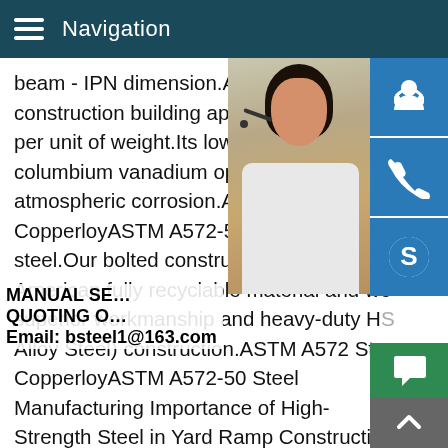Navigation
beam - IPN dimension.A572-50 steel i beam construction building applications for it can per unit of weight.Its low content of alloy e columbium vanadium optimize the properties atmospheric corrosion.ASTM A572 Steel - CopperloyASTM A572-50 is an ultra-high s steel.Our bolted construction yard ramps a American fully recyclable material and we superior workmanship and heavy-duty HS Alloy Steel) construction.ASTM A572 Steel CopperloyASTM A572-50 Steel Manufacturing Importance of High-Strength Steel in Yard Ramp Construction How is ASTM A572-50 plate steel manufactured? ASTM (American Society for Testing and Materials) A572-50 plates are hot rolled structural steel with industry leading tolerance,concentricity,and straightness due to addition of strong carbide and nitride formers that produce a s
[Figure (photo): Customer service representative, woman with headset smiling, with chat/phone/skype icon buttons on the right side]
MANUAL SE... QUOTING O... Email: bsteel1@163.com